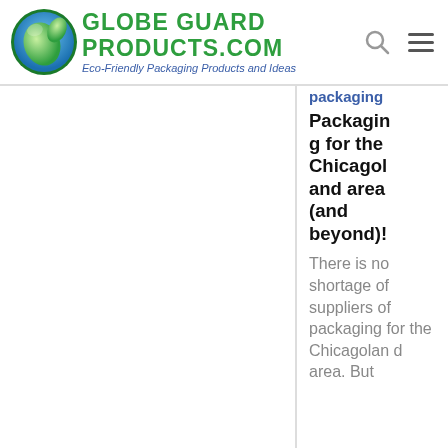Globe Guard Products.com — Eco-Friendly Packaging Products and Ideas
Packaging for the Chicagoland area (and beyond)!
There is no shortage of suppliers of packaging for the Chicagoland area. But